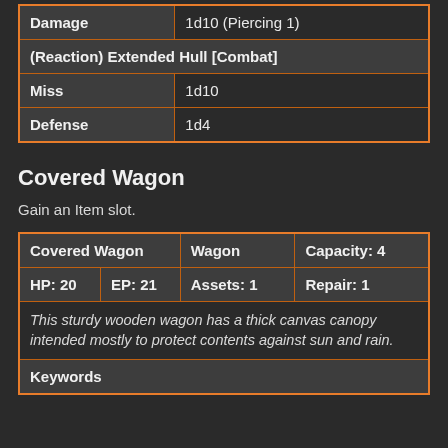| Damage | 1d10 (Piercing 1) |
| (Reaction) Extended Hull [Combat] |  |
| Miss | 1d10 |
| Defense | 1d4 |
Covered Wagon
Gain an Item slot.
| Covered Wagon | Wagon | Capacity: 4 |
| --- | --- | --- |
| HP: 20 | EP: 21 | Assets: 1 | Repair: 1 |
| This sturdy wooden wagon has a thick canvas canopy intended mostly to protect contents against sun and rain. |  |  |  |
| Keywords |  |  |  |